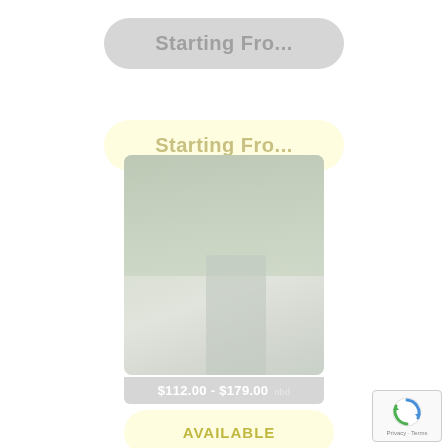Starting Fro...
Starting Fro...
[Figure (photo): Faded/loading property photo showing trees and a building structure, with a gray overlay]
$112.00 - $179.00 nbd
AVAILABLE
[Figure (logo): reCAPTCHA badge with Privacy and Terms links]